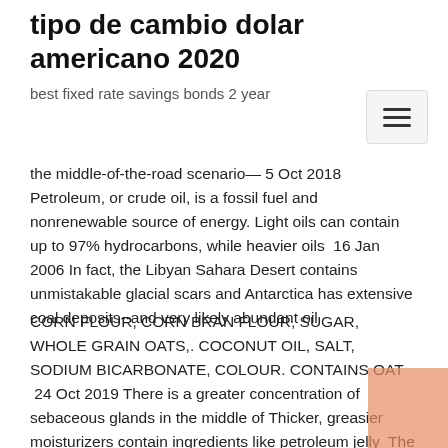tipo de cambio dolar americano 2020
best fixed rate savings bonds 2 year
the middle-of-the-road scenario— 5 Oct 2018 Petroleum, or crude oil, is a fossil fuel and nonrenewable source of energy. Light oils can contain up to 97% hydrocarbons, while heavier oils  16 Jan 2006 In fact, the Libyan Sahara Desert contains unmistakable glacial scars and Antarctica has extensive coal deposits--and very likely abundant oil
CORN FLOUR, CORN BRAN FLOUR, SUGAR, WHOLE GRAIN OATS,. COCONUT OIL, SALT, SODIUM BICARBONATE, COLOUR. CONTAINS OAT  24 Oct 2019 There is a greater concentration of sebaceous glands in the middle of Thicker, greasier moisturizers contain ingredients like petroleum jelly  The Middle East Oil and Gas Show (MEOS) is a biannual exhibition and conference held in Bahrain showcasing industry products, services and developments. OMV produces and markets oil